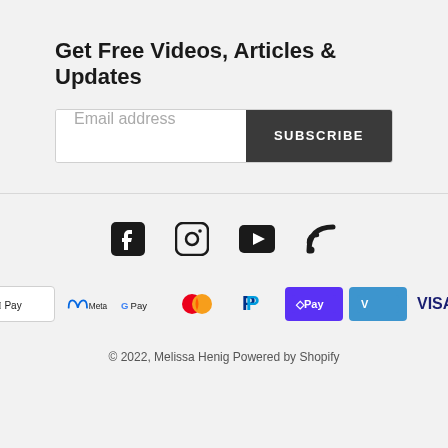Get Free Videos, Articles & Updates
[Figure (screenshot): Email address input field with Subscribe button]
[Figure (infographic): Social media icons: Facebook, Instagram, YouTube, RSS feed]
[Figure (infographic): Payment method icons: Apple Pay, Meta Pay, Google Pay, Mastercard, PayPal, Shop Pay, Venmo, Visa]
© 2022, Melissa Henig Powered by Shopify